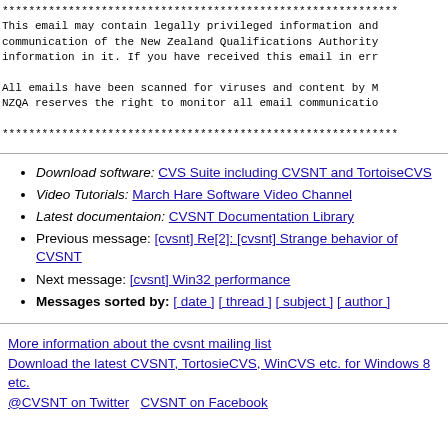************************************************************
This email may contain legally privileged information and
communication of the New Zealand Qualifications Authority
information in it. If you have received this email in err

All emails have been scanned for viruses and content by M
NZQA reserves the right to monitor all email communicatio

************************************************************
Download software: CVS Suite including CVSNT and TortoiseCVS
Video Tutorials: March Hare Software Video Channel
Latest documentaion: CVSNT Documentation Library
Previous message: [cvsnt] Re[2]: [cvsnt] Strange behavior of CVSNT
Next message: [cvsnt] Win32 performance
Messages sorted by: [ date ] [ thread ] [ subject ] [ author ]
More information about the cvsnt mailing list
Download the latest CVSNT, TortosieCVS, WinCVS etc. for Windows 8 etc.
@CVSNT on Twitter   CVSNT on Facebook